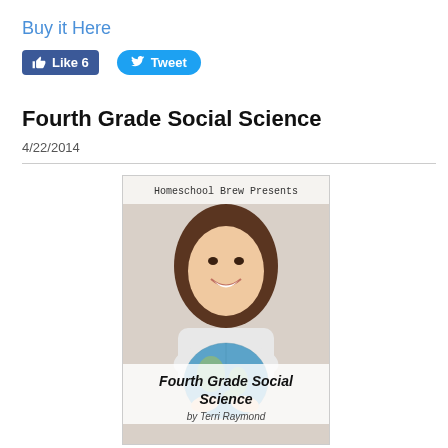Buy it Here
[Figure (screenshot): Facebook Like button showing count 6 and Twitter Tweet button]
Fourth Grade Social Science
4/22/2014
[Figure (photo): Book cover for 'Fourth Grade Social Science by Terri Raymond', published by Homeschool Brew Presents. Shows a young girl with brown hair smiling and hugging a globe.]